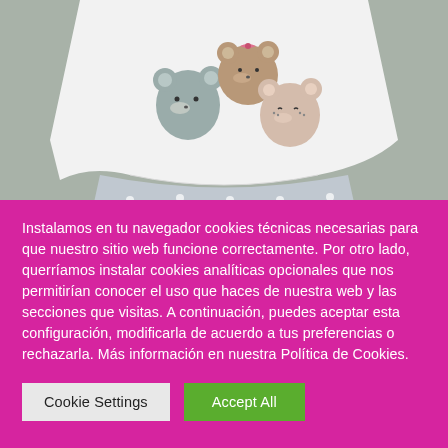[Figure (photo): A child's clothing set: white sleeveless top with three cute bear face appliqués (gray, brown/tan, and pink/beige) and light gray polka-dot shorts/pants, laid flat on a gray background.]
Instalamos en tu navegador cookies técnicas necesarias para que nuestro sitio web funcione correctamente. Por otro lado, querríamos instalar cookies analíticas opcionales que nos permitirían conocer el uso que haces de nuestra web y las secciones que visitas. A continuación, puedes aceptar esta configuración, modificarla de acuerdo a tus preferencias o rechazarla. Más información en nuestra Política de Cookies.
Cookie Settings
Accept All